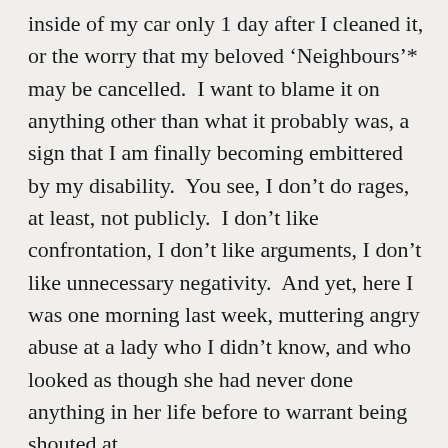inside of my car only 1 day after I cleaned it, or the worry that my beloved ‘Neighbours’* may be cancelled.  I want to blame it on anything other than what it probably was, a sign that I am finally becoming embittered by my disability.  You see, I don’t do rages, at least, not publicly.  I don’t like confrontation, I don’t like arguments, I don’t like unnecessary negativity.  And yet, here I was one morning last week, muttering angry abuse at a lady who I didn’t know, and who looked as though she had never done anything in her life before to warrant being shouted at.